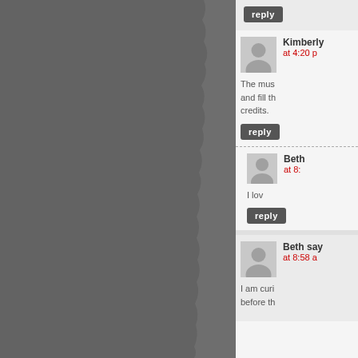[Figure (photo): Dark gray background panel with torn paper edge effect on right side, occupying the left portion of the page]
reply
Kimberly
at 4:20 p
The mus and fill th credits.
reply
Beth
at 8:
I lov
reply
Beth say
at 8:58 a
I am curi before th